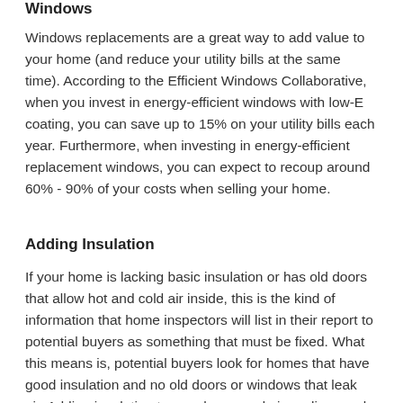Windows
Windows replacements are a great way to add value to your home (and reduce your utility bills at the same time). According to the Efficient Windows Collaborative, when you invest in energy-efficient windows with low-E coating, you can save up to 15% on your utility bills each year. Furthermore, when investing in energy-efficient replacement windows, you can expect to recoup around 60% - 90% of your costs when selling your home.
Adding Insulation
If your home is lacking basic insulation or has old doors that allow hot and cold air inside, this is the kind of information that home inspectors will list in their report to potential buyers as something that must be fixed. What this means is, potential buyers look for homes that have good insulation and no old doors or windows that leak air. Adding insulation to your home and air sealing cracks around the